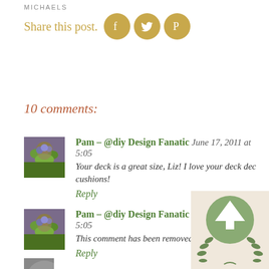MICHAELS
Share this post.
10 comments:
Pam - @diy Design Fanatic June 17, 2011 at 5:05
Your deck is a great size, Liz! I love your deck dec cushions!
Reply
Pam - @diy Design Fanatic June 17, 20__ at 5:05
This comment has been removed by t...
Reply
[Figure (logo): Decorative badge with tree and laurel wreath overlay in bottom right corner]